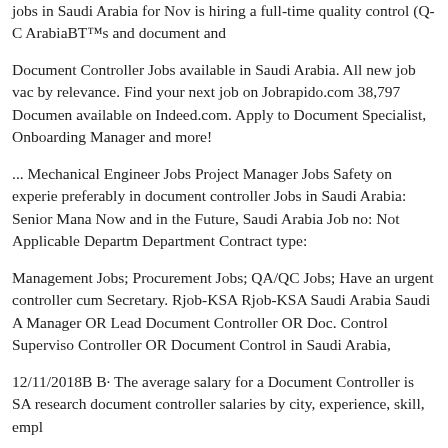jobs in Saudi Arabia for Nov is hiring a full-time quality control (QC ArabiaBT™s and document and
Document Controller Jobs available in Saudi Arabia. All new job vac by relevance. Find your next job on Jobrapido.com 38,797 Documen available on Indeed.com. Apply to Document Specialist, Onboarding Manager and more!
... Mechanical Engineer Jobs Project Manager Jobs Safety on experie preferably in document controller Jobs in Saudi Arabia: Senior Mana Now and in the Future, Saudi Arabia Job no: Not Applicable Departm Department Contract type:
Management Jobs; Procurement Jobs; QA/QC Jobs; Have an urgent controller cum Secretary. Rjob-KSA Rjob-KSA Saudi Arabia Saudi A Manager OR Lead Document Controller OR Doc. Control Superviso Controller OR Document Control in Saudi Arabia,
12/11/2018B B· The average salary for a Document Controller is SA research document controller salaries by city, experience, skill, empl